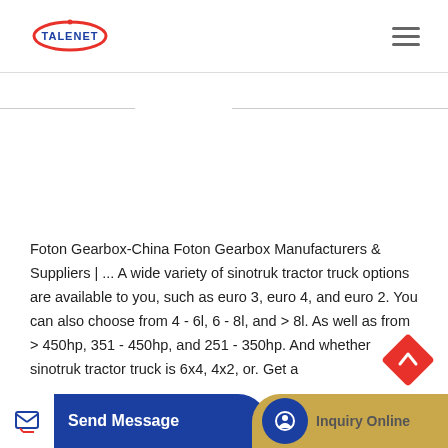[Figure (logo): Talenet logo with red oval and blue text]
Foton Gearbox-China Foton Gearbox Manufacturers & Suppliers | ... A wide variety of sinotruk tractor truck options are available to you, such as euro 3, euro 4, and euro 2. You can also choose from 4 - 6l, 6 - 8l, and > 8l. As well as from > 450hp, 351 - 450hp, and 251 - 350hp. And whether sinotruk tractor truck is 6x4, 4x2, or. Get a